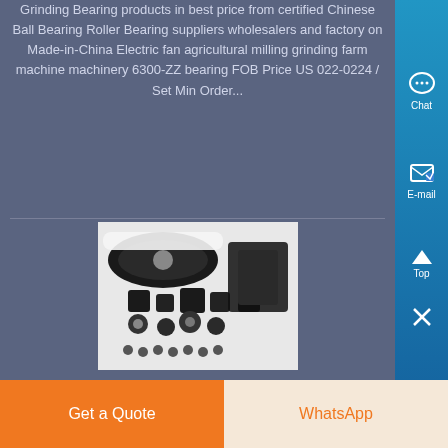Grinding Bearing products in best price from certified Chinese Ball Bearing Roller Bearing suppliers wholesalers and factory on Made-in-China Electric fan agricultural milling grinding farm machine machinery 6300-ZZ bearing FOB Price US 022-0224 / Set Min Order...
[Figure (photo): Photo of industrial grinding machine parts including belts, bearings, and mechanical components on a white background]
Kpt Ag4 Grinding Machine Prices
Ag7 Grinding Machine Ag7 Makita Make kpt grinding machine ag7 deals in vadodara ag7 grinding machine ag7 makita make hand grinding machine ag4 make kpt learn more Get Price gear grinding machine buy used on machineseeker 103885 used gear grinding machine 35192918 from certified dealers from the leading platform...
Get a Quote
WhatsApp